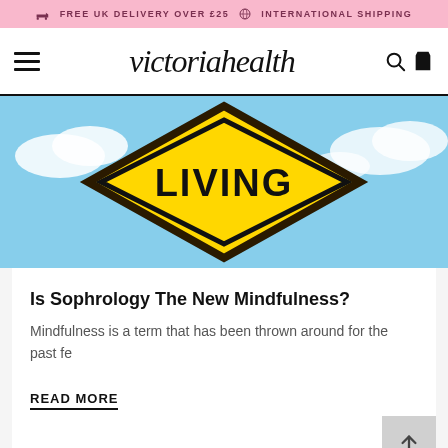🚚 FREE UK DELIVERY OVER £25 🌐 INTERNATIONAL SHIPPING
victoriahealth
[Figure (photo): Yellow diamond-shaped road sign reading 'LIVING' against a blue sky with clouds]
Is Sophrology The New Mindfulness?
Mindfulness is a term that has been thrown around for the past fe
READ MORE
[Figure (illustration): Partial view of a silhouetted figure with outstretched wings/arms at the bottom of the page]